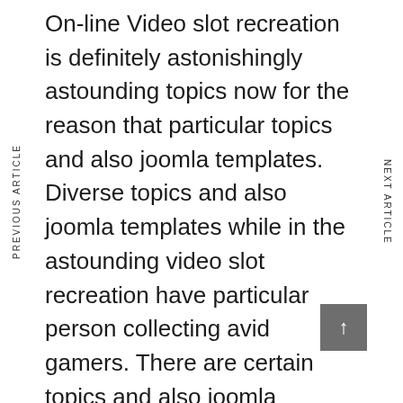PREVIOUS ARTICLE
NEXT ARTICLE
On-line Video slot recreation is definitely astonishingly astounding topics now for the reason that particular topics and also joomla templates. Diverse topics and also joomla templates while in the astounding video slot recreation have particular person collecting avid gamers. There are certain topics and also joomla templates that should get that promotion avid gamers to never continue to keep this amazing sport activity. The number of topics and also joomla templates could be purchased around particular nations designed for